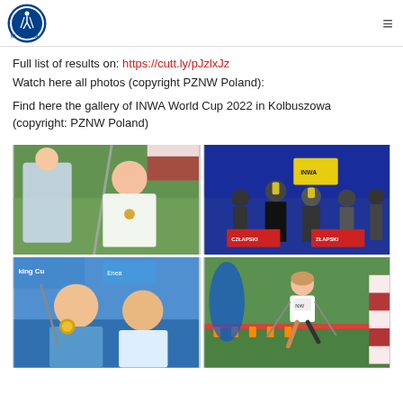INWA logo and navigation
Full list of results on: https://cutt.ly/pJzlxJz
Watch here all photos (copyright PZNW Poland):
Find here the gallery of INWA World Cup 2022 in Kolbuszowa (copyright: PZNW Poland)
[Figure (photo): Nordic walking athlete smiling holding poles at competition event]
[Figure (photo): Group of athletes on podium with trophies and banners reading CZLAPSKI at INWA World Cup 2022]
[Figure (photo): Two male nordic walking athletes posing with gold medal at King Cup event]
[Figure (photo): Female nordic walking athlete jumping at finish line of competition]